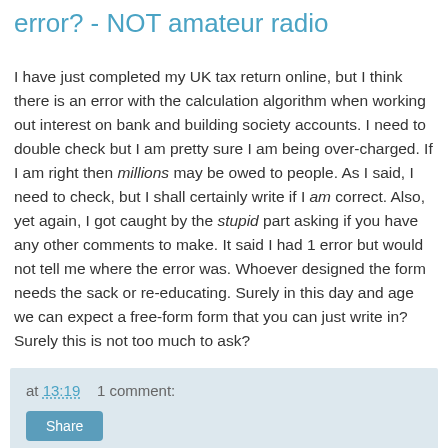error? - NOT amateur radio
I have just completed my UK tax return online, but I think there is an error with the calculation algorithm when working out interest on bank and building society accounts. I need to double check but I am pretty sure I am being over-charged. If I am right then millions may be owed to people. As I said, I need to check, but I shall certainly write if I am correct. Also, yet again, I got caught by the stupid part asking if you have any other comments to make. It said I had 1 error but would not tell me where the error was. Whoever designed the form needs the sack or re-educating. Surely in this day and age we can expect a free-form form that you can just write in? Surely this is not too much to ask?
at 13:19   1 comment:
Share
Sunspots and 10m - Tues Jan 5th 2016